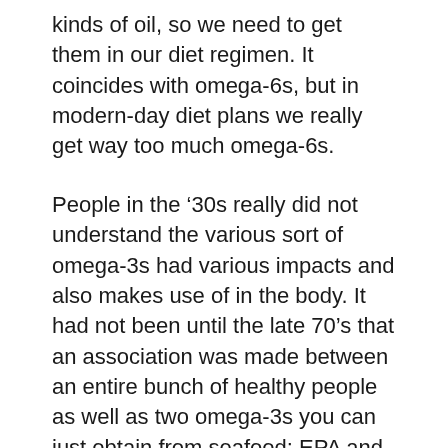kinds of oil, so we need to get them in our diet regimen. It coincides with omega-6s, but in modern-day diet plans we really get way too much omega-6s.
People in the ’30s really did not understand the various sort of omega-3s had various impacts and also makes use of in the body. It had not been until the late 70’s that an association was made between an entire bunch of healthy people as well as two omega-3s you can just obtain from seafood: EPA and also DHA.
Nowadays nutritionists as well as insurance companies alike understand just how necessary it is to obtain DHA and EPA. As well as if you’re not eating enough fish (or